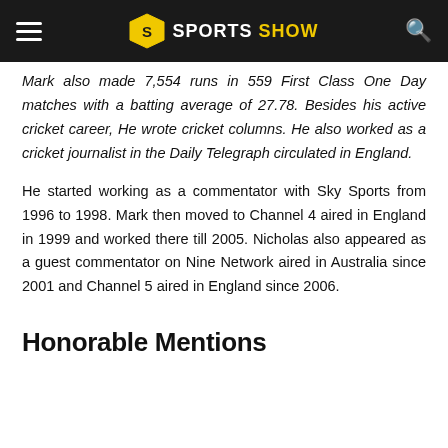Sports Show
Mark also made 7,554 runs in 559 First Class One Day matches with a batting average of 27.78. Besides his active cricket career, He wrote cricket columns. He also worked as a cricket journalist in the Daily Telegraph circulated in England.
He started working as a commentator with Sky Sports from 1996 to 1998. Mark then moved to Channel 4 aired in England in 1999 and worked there till 2005. Nicholas also appeared as a guest commentator on Nine Network aired in Australia since 2001 and Channel 5 aired in England since 2006.
Honorable Mentions